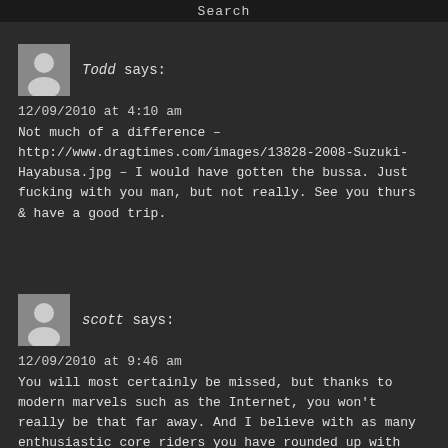Search
[Figure (illustration): Gray avatar placeholder icon for user Todd]
Todd says:
12/09/2010 at 4:10 am
Not much of a difference – http://www.dragtimes.com/images/13828-2008-Suzuki-Hayabusa.jpg – I would have gotten the bussa. Just fucking with you man, but not really. See you thurs & have a good trip.
[Figure (illustration): Gray avatar placeholder icon for user scott]
scott says:
12/09/2010 at 9:46 am
You will most certainly be missed, but thanks to modern marvels such as the Internet, you won't really be that far away. And I believe with as many enthusiastic core riders you have rounded up with Chin-on-the-Tank, the posts will